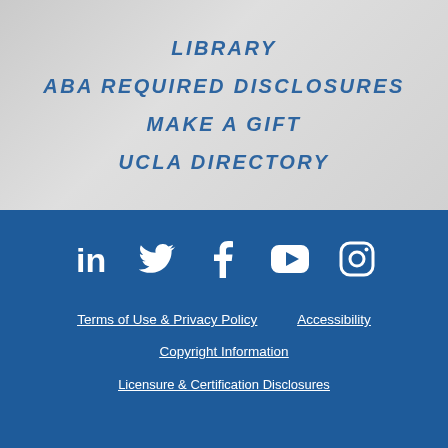LIBRARY
ABA REQUIRED DISCLOSURES
MAKE A GIFT
UCLA DIRECTORY
[Figure (infographic): Social media icons: LinkedIn, Twitter, Facebook, YouTube, Instagram — white icons on blue background]
Terms of Use & Privacy Policy   Accessibility   Copyright Information   Licensure & Certification Disclosures